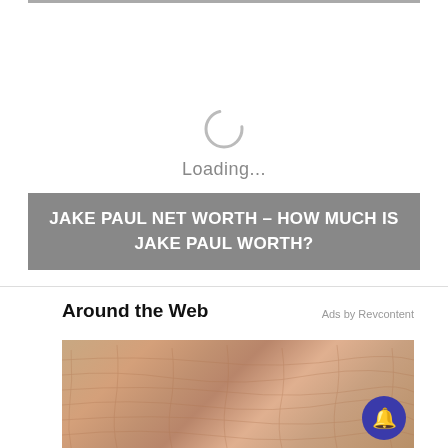[Figure (other): Video loading area with spinner and Loading... text]
JAKE PAUL NET WORTH – HOW MUCH IS JAKE PAUL WORTH?
Around the Web
Ads by Revcontent
[Figure (photo): Thumbnail image showing textured skin/biological surface in orange-pink tones]